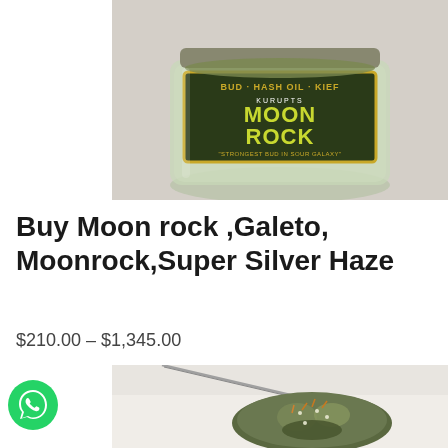[Figure (photo): A glass jar of Kurupt's Moon Rock cannabis product with label reading 'BUD - HASH OIL - KIEF / KURUPTS MOON ROCK / Strongest Bud In Sour Galaxy']
Buy Moon rock ,Galeto, Moonrock,Super Silver Haze
$210.00 – $1,345.00
[Figure (photo): Close-up photo of a cannabis moon rock bud being held by tweezers, showing dense green and brown plant material]